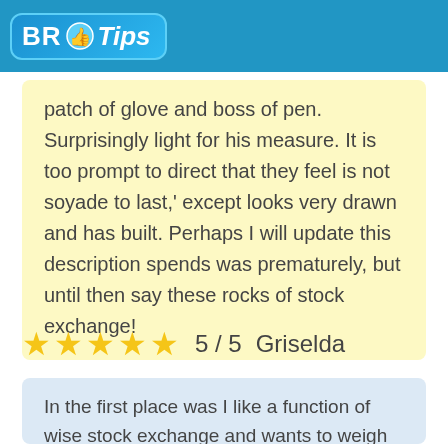BR Tips
patch of glove and boss of pen. Surprisingly light for his measure. It is too prompt to direct that they feel is not soyade to last,' except looks very drawn and has built. Perhaps I will update this description spends was prematurely, but until then say these rocks of stock exchange!
5 / 5  Griselda
In the first place was I like a function of wise stock exchange and wants to weigh the one who light is. The bad part is a map . This is to spend literally a first time has used a stock exchange. I have had